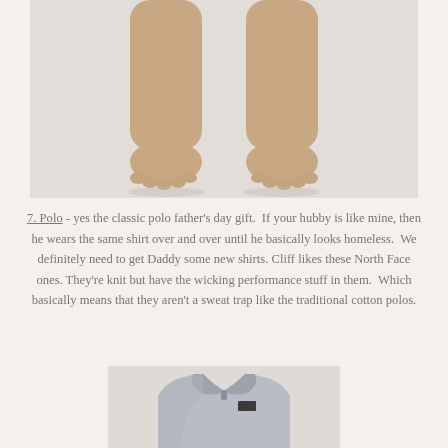[Figure (photo): Bare legs and feet of a person standing on a light gray/white background, cropped at approximately mid-calf level showing both feet from front view]
7. Polo - yes the classic polo father's day gift.  If your hubby is like mine, then he wears the same shirt over and over until he basically looks homeless.  We definitely need to get Daddy some new shirts.  Cliff likes these North Face ones. They're knit but have the wicking performance stuff in them.  Which basically means that they aren't a sweat trap like the traditional cotton polos.
[Figure (photo): A light gray North Face polo shirt laid flat, showing collar and upper chest area with North Face logo visible]